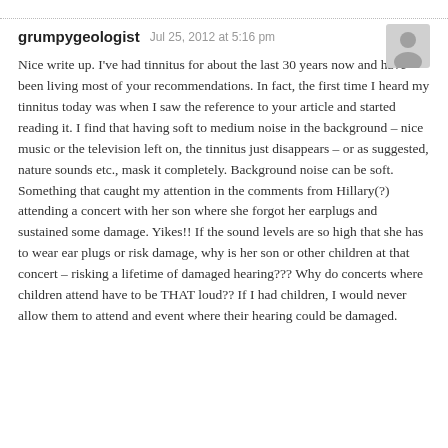grumpygeologist   Jul 25, 2012 at 5:16 pm
Nice write up. I've had tinnitus for about the last 30 years now and have been living most of your recommendations. In fact, the first time I heard my tinnitus today was when I saw the reference to your article and started reading it. I find that having soft to medium noise in the background – nice music or the television left on, the tinnitus just disappears – or as suggested, nature sounds etc., mask it completely. Background noise can be soft.
Something that caught my attention in the comments from Hillary(?) attending a concert with her son where she forgot her earplugs and sustained some damage. Yikes!! If the sound levels are so high that she has to wear ear plugs or risk damage, why is her son or other children at that concert – risking a lifetime of damaged hearing??? Why do concerts where children attend have to be THAT loud?? If I had children, I would never allow them to attend and event where their hearing could be damaged.